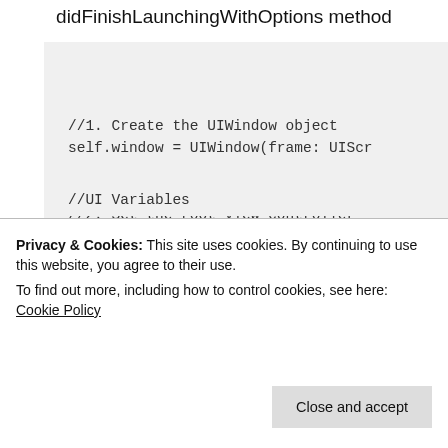didFinishLaunchingWithOptions method
[Figure (screenshot): Code block showing Swift iOS app delegate code with three steps: 1. Create the UIWindow object (self.window = UIWindow(frame: UIScr...), 2. Set the root view controller (self.window?.rootViewController = s...), 3. Make the window key and visible (self.window?.makeKeyAndVisible()), and a partial line showing //UI Variables]
Privacy & Cookies: This site uses cookies. By continuing to use this website, you agree to their use.
To find out more, including how to control cookies, see here: Cookie Policy
Close and accept